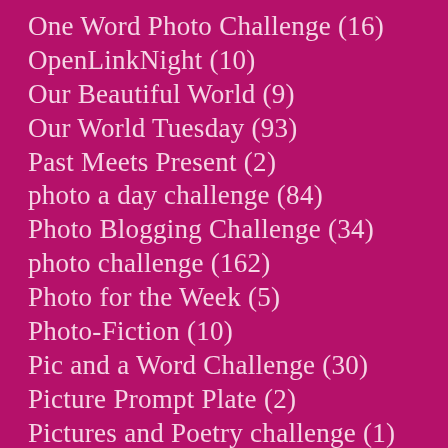One Word Photo Challenge (16)
OpenLinkNight (10)
Our Beautiful World (9)
Our World Tuesday (93)
Past Meets Present (2)
photo a day challenge (84)
Photo Blogging Challenge (34)
photo challenge (162)
Photo for the Week (5)
Photo-Fiction (10)
Pic and a Word Challenge (30)
Picture Prompt Plate (2)
Pictures and Poetry challenge (1)